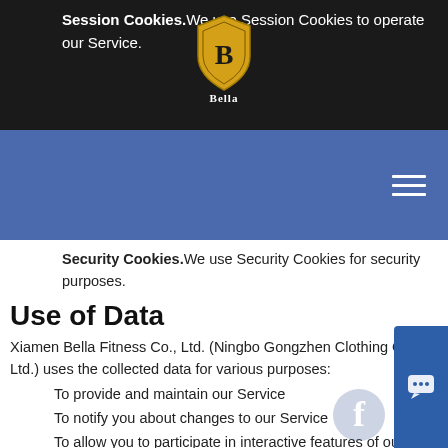Session Cookies. We use Session Cookies to operate our Service.
[Figure (logo): Bella Fitness logo — gold shield with letter B and 'Bella' text below]
Security Cookies. We use Security Cookies for security purposes.
Use of Data
Xiamen Bella Fitness Co., Ltd. (Ningbo Gongzhen Clothing Co., Ltd.) uses the collected data for various purposes:
To provide and maintain our Service
To notify you about changes to our Service
To allow you to participate in interactive features of our Service when you choose to do so
To provide customer support
To gather analysis or valuable information so that we can improve our Service